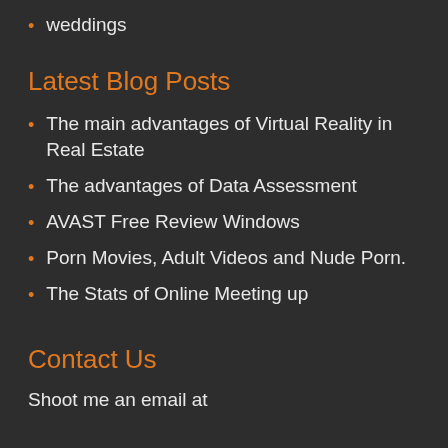weddings
Latest Blog Posts
The main advantages of Virtual Reality in Real Estate
The advantages of Data Assessment
AVAST Free Review Windows
Porn Movies, Adult Videos and Nude Porn.
The Stats of Online Meeting up
Contact Us
Shoot me an email at